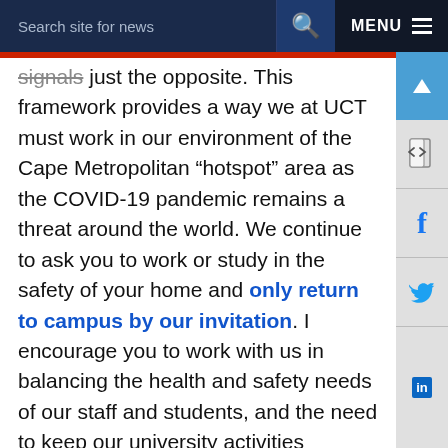Search site for news | MENU
signals just the opposite. This framework provides a way we at UCT must work in our environment of the Cape Metropolitan “hotspot” area as the COVID-19 pandemic remains a threat around the world. We continue to ask you to work or study in the safety of your home and only return to campus by our invitation. I encourage you to work with us in balancing the health and safety needs of our staff and students, and the need to keep our university activities moving.
The COVID-19 Return to UCT policy framework will help us take individual and collective responsibility for managing the impact of COVID-19 on our working and home life. Reminders will be posted across campus and on social media platforms so that each of us follows the guidelines for physical distancing and safe and hygienic practices. To protect our own health and that of the people around us, we know that because of the way that